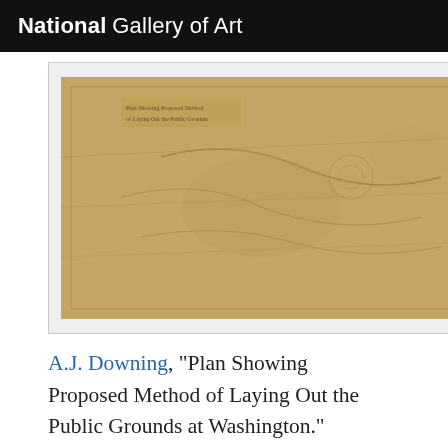National Gallery of Art
[Figure (photo): Aged tan/brown historical map or plan document, partially legible, showing proposed layout of public grounds.]
A.J. Downing, "Plan Showing Proposed Method of Laying Out the Public Grounds at Washington." 1851. See copy.
[Figure (photo): Bottom of page partial frame, content not visible.]